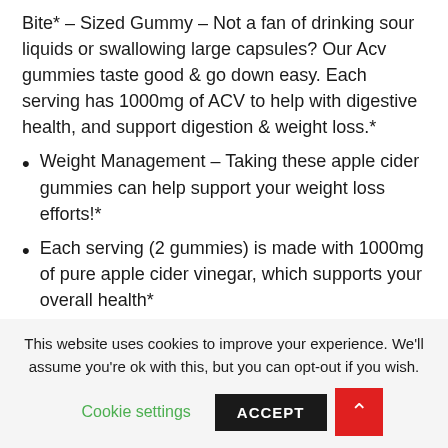Bite* – Sized Gummy – Not a fan of drinking sour liquids or swallowing large capsules? Our Acv gummies taste good & go down easy. Each serving has 1000mg of ACV to help with digestive health, and support digestion & weight loss.*
Weight Management – Taking these apple cider gummies can help support your weight loss efforts!*
Each serving (2 gummies) is made with 1000mg of pure apple cider vinegar, which supports your overall health*
This website uses cookies to improve your experience. We'll assume you're ok with this, but you can opt-out if you wish.
Cookie settings  ACCEPT  ↑